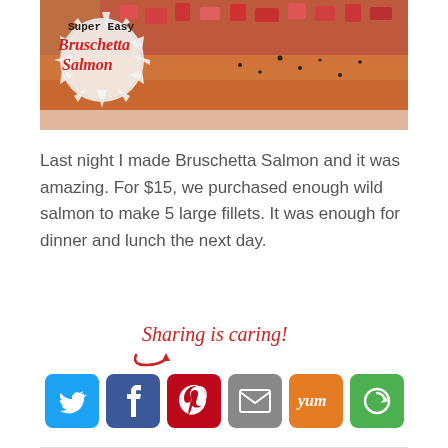[Figure (photo): Photo of bruschetta salmon topped with diced tomatoes, with overlay text badge reading 'Super Easy Bruschetta Salmon' on a sunburst/starburst white badge background]
Last night I made Bruschetta Salmon and it was amazing. For $15, we purchased enough wild salmon to make 5 large fillets. It was enough for dinner and lunch the next day.
[Figure (infographic): Sharing is caring! text in red handwriting script with a red arrow, followed by social share buttons: Twitter (blue bird icon), Facebook (blue F), Pinterest (red P), Email (grey envelope), Yummly (orange yum), More (green circular arrow)]